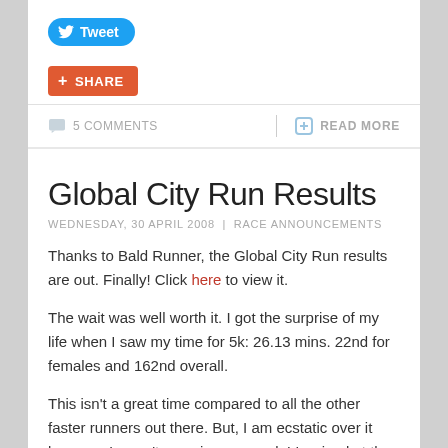[Figure (other): Tweet button (blue rounded pill with Twitter bird icon and 'Tweet' text)]
[Figure (other): Share button (orange rounded rectangle with plus icon and 'SHARE' text)]
5 COMMENTS
READ MORE
Global City Run Results
WEDNESDAY, 30 APRIL 2008  |  RACE ANNOUNCEMENTS
Thanks to Bald Runner, the Global City Run results are out. Finally! Click here to view it.
The wait was well worth it. I got the surprise of my life when I saw my time for 5k: 26.13 mins. 22nd for females and 162nd overall.
This isn't a great time compared to all the other faster runners out there. But, I am ecstatic over it because I wasn't even in race mode! I arrived at the run with the mindset that I would absolutely not run race pace, just 80%